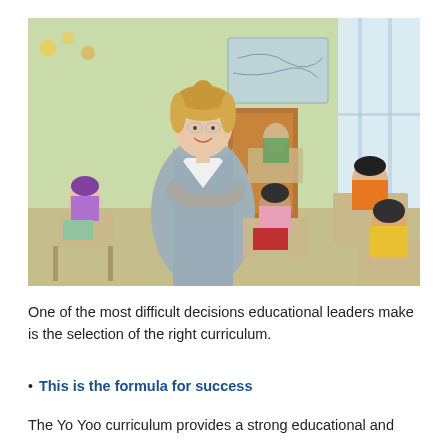[Figure (photo): A smiling female teacher with blonde hair and glasses standing with arms crossed in a classroom, with diverse elementary school students working at desks behind her. The classroom has a green wall with decorations and a map.]
One of the most difficult decisions educational leaders make is the selection of the right curriculum.
This is the formula for success
The Yo Yoo curriculum provides a strong educational and